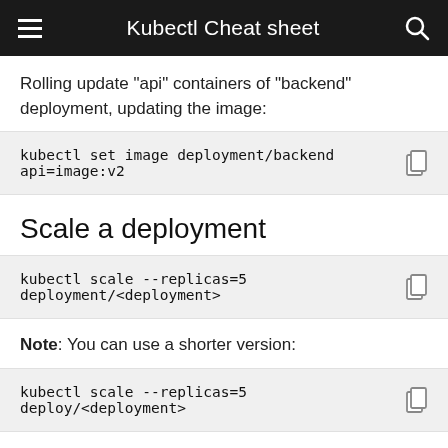Kubectl Cheat sheet
Rolling update "api" containers of "backend" deployment, updating the image:
Scale a deployment
Note: You can use a shorter version:
Dry run and YAML output